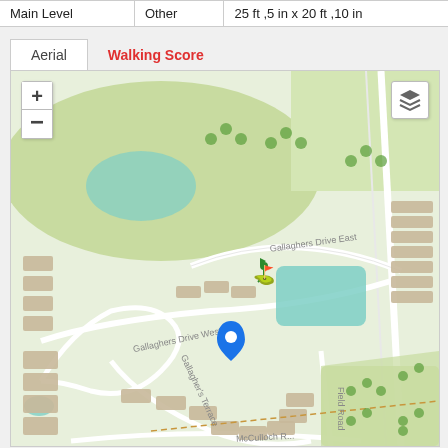| Main Level | Other | 25 ft ,5 in x 20 ft ,10 in |
| --- | --- | --- |
Aerial | Walking Score
[Figure (map): Aerial map showing a neighborhood with streets including Gallagher's Circle, Gallaghers Drive West, Gallaghers Drive East, Gallagher's Terrace, Gallagher's Parkway, McCulloch Road, Field Road. The map shows a golf course area with green spaces, a pond, and residential buildings. A blue location pin is placed in the center of the map near Gallagher's Drive area.]